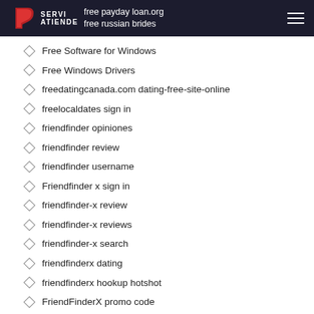free payday loan.org | free russian brides
Free Software for Windows
Free Windows Drivers
freedatingcanada.com dating-free-site-online
freelocaldates sign in
friendfinder opiniones
friendfinder review
friendfinder username
Friendfinder x sign in
friendfinder-x review
friendfinder-x reviews
friendfinder-x search
friendfinderx dating
friendfinderx hookup hotshot
FriendFinderX promo code
friendly log in